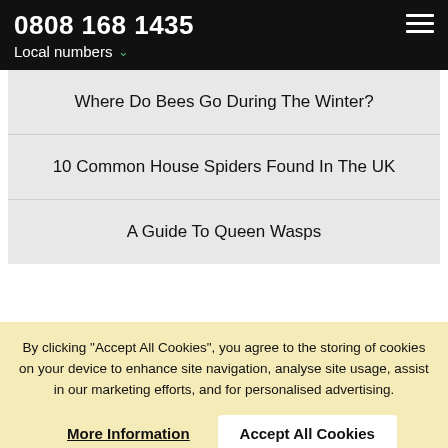0808 168 1435
Local numbers
Where Do Bees Go During The Winter?
10 Common House Spiders Found In The UK
A Guide To Queen Wasps
By clicking "Accept All Cookies", you agree to the storing of cookies on your device to enhance site navigation, analyse site usage, assist in our marketing efforts, and for personalised advertising.
More Information
Accept All Cookies